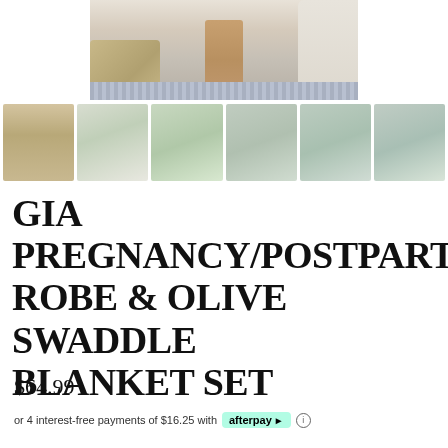[Figure (photo): Main product photo showing legs/feet of a person wearing a robe, standing on a patterned rug next to a cream sofa, top portion of product lifestyle image]
[Figure (photo): Row of six thumbnail product photos showing a baby swaddle, woman in pregnancy robe on bed, woman in robe holding baby, woman in robe holding baby close-up, woman in robe seated, and woman in robe smiling]
GIA PREGNANCY/POSTPARTUM ROBE & OLIVE SWADDLE BLANKET SET
$64.99
or 4 interest-free payments of $16.25 with afterpay